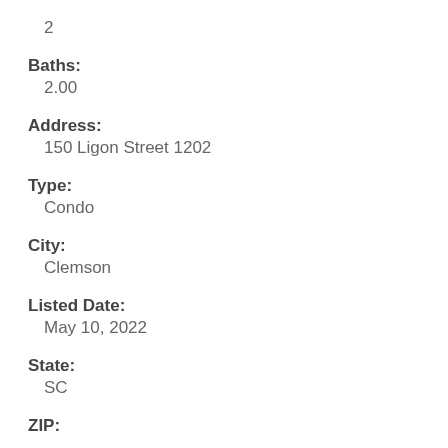2
Baths:
2.00
Address:
150 Ligon Street 1202
Type:
Condo
City:
Clemson
Listed Date:
May 10, 2022
State:
SC
ZIP: